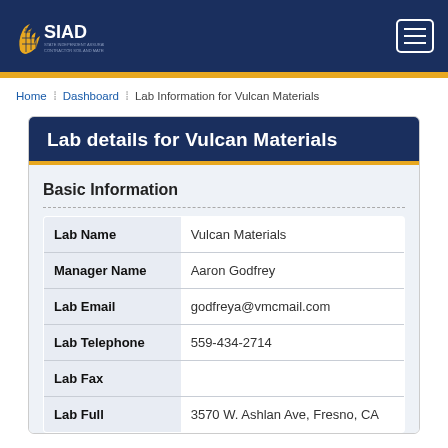SIAD
Home | Dashboard | Lab Information for Vulcan Materials
Lab details for Vulcan Materials
Basic Information
| Field | Value |
| --- | --- |
| Lab Name | Vulcan Materials |
| Manager Name | Aaron Godfrey |
| Lab Email | godfreya@vmcmail.com |
| Lab Telephone | 559-434-2714 |
| Lab Fax |  |
| Lab Full | 3570 W. Ashlan Ave, Fresno, CA |